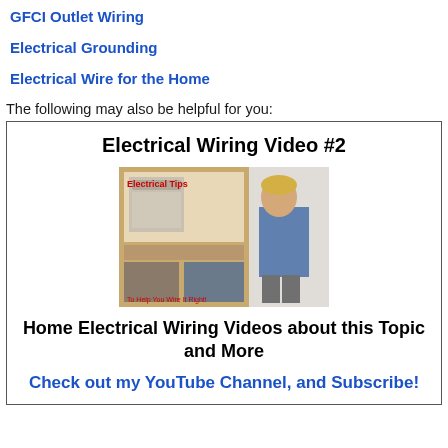GFCI Outlet Wiring
Electrical Grounding
Electrical Wire for the Home
The following may also be helpful for you:
[Figure (screenshot): Promotional box for Electrical Wiring Video #2 with an image labeled 'Electrical Tips - To Help You Wire It Right!' showing a kitchen and a person, followed by text 'Home Electrical Wiring Videos about this Topic and More' and 'Check out my YouTube Channel, and Subscribe!']